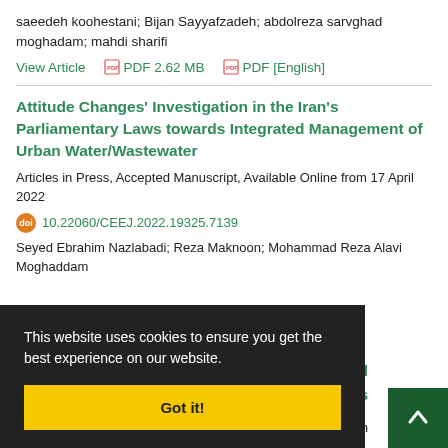saeedeh koohestani; Bijan Sayyafzadeh; abdolreza sarvghad moghadam; mahdi sharifi
View Article  PDF 2.62 MB  PDF [English]
Attitude Changes' Investigation in the Iran's Parliamentary Laws towards Integrated Management of Urban Water/Wastewater
Articles in Press, Accepted Manuscript, Available Online from 17 April 2022
10.22060/CEEJ.2022.19325.7139
Seyed Ebrahim Nazlabadi; Reza Maknoon; Mohammad Reza Alavi Moghaddam
This website uses cookies to ensure you get the best experience on our website.
Got it!
vaz Steel
rs
nline from
April 2022